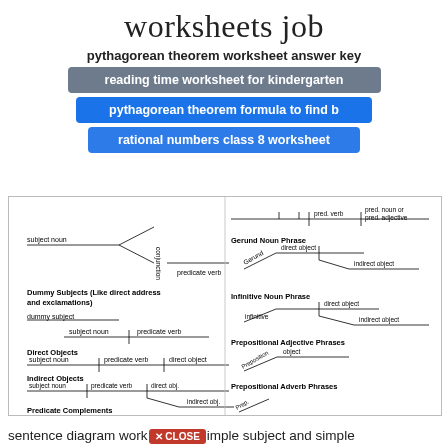worksheets job
pythagorean theorem worksheet answer key
reading time worksheet for kindergarten
pythagorean theorem formula to find b
rational numbers class 8 worksheet
[Figure (illustration): Sentence diagramming reference chart showing grammatical diagram patterns: subject noun, conjunction, predicate verb, dummy subjects, direct objects, indirect objects, predicate complements on left side; gerund noun phrase, infinitive noun phrase, prepositional adjective phrases, prepositional adverb phrases on right side.]
sentence diagram worksheet simple subject and simple